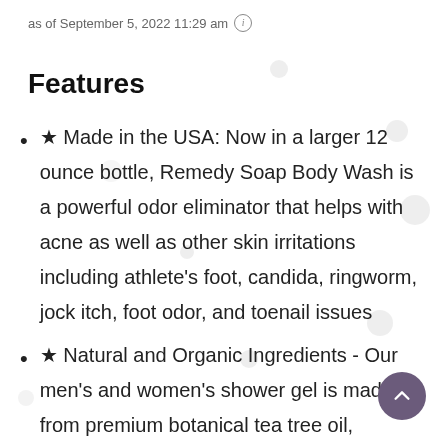as of September 5, 2022 11:29 am ℹ
Features
★ Made in the USA: Now in a larger 12 ounce bottle, Remedy Soap Body Wash is a powerful odor eliminator that helps with acne as well as other skin irritations including athlete's foot, candida, ringworm, jock itch, foot odor, and toenail issues
★ Natural and Organic Ingredients - Our men's and women's shower gel is made from premium botanical tea tree oil, eucalyptus oil, and peppermint oil, which are well known for